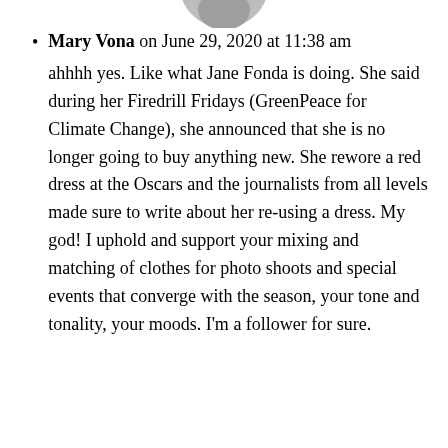[Figure (photo): Partial avatar/profile photo at top center, mostly cropped out]
Mary Vona on June 29, 2020 at 11:38 am
ahhhh yes. Like what Jane Fonda is doing. She said during her Firedrill Fridays (GreenPeace for Climate Change), she announced that she is no longer going to buy anything new. She rewore a red dress at the Oscars and the journalists from all levels made sure to write about her re-using a dress. My god! I uphold and support your mixing and matching of clothes for photo shoots and special events that converge with the season, your tone and tonality, your moods. I'm a follower for sure.